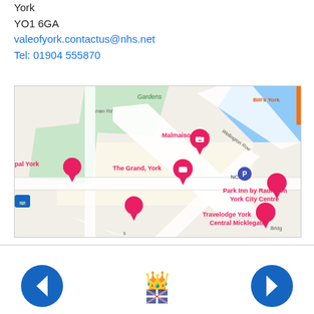York
YO1 6GA
valeofyork.contactus@nhs.net
Tel: 01904 555870
[Figure (map): Google Maps screenshot showing central York area with hotel pins including Malmaison York, The Grand York, Park Inn by Radisson York City Centre, Travelodge York Central Micklegate, and NCP parking marker. Wellington Row and Bill's York visible in top right. River visible in upper right corner.]
[Figure (logo): NHS or government crest/logo in center bottom navigation bar]
[Figure (other): Blue left navigation arrow button at bottom left]
[Figure (other): Blue right navigation arrow button at bottom right]